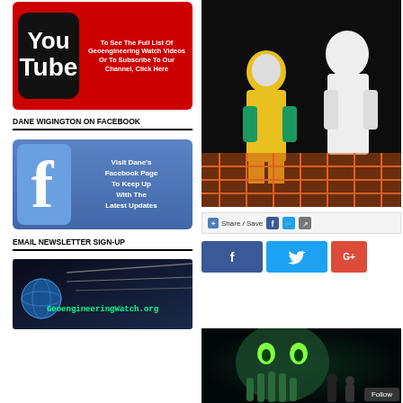[Figure (screenshot): YouTube red banner with YouTube logo on left and text 'To See The Full List Of Geoengineering Watch Videos Or To Subscribe To Our Channel, Click Here' on right]
DANE WIGINGTON ON FACEBOOK
[Figure (screenshot): Facebook blue banner with Facebook 'f' logo and text 'Visit Dane's Facebook Page To Keep Up With The Latest Updates']
EMAIL NEWSLETTER SIGN-UP
[Figure (screenshot): GeoengineeringWatch.org newsletter sign-up banner showing earth and chemtrails]
[Figure (photo): Photo of people in hazmat/Ebola protective suits with orange barrier fence]
[Figure (screenshot): Share/Save social media sharing bar with Facebook, Twitter icons]
[Figure (screenshot): Social share buttons: Facebook (f), Twitter (bird), Google+ (G+)]
[Figure (illustration): Horror illustration of a green monster-like creature, with Follow badge overlay]